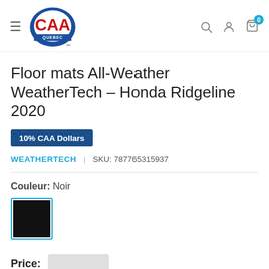CAA Quebec — navigation header with hamburger menu, logo, search, account, and cart (0 items)
Floor mats All-Weather WeatherTech – Honda Ridgeline 2020
10% CAA Dollars
WEATHERTECH | SKU: 787765315937
Couleur: Noir
[Figure (other): Black colour swatch selected with blue border]
Price: [price redacted]
Shipping calculated at checkout